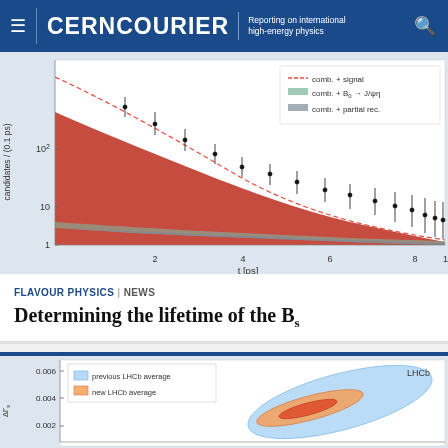CERNCOURIER | Reporting on international high-energy physics
[Figure (continuous-plot): Semi-log plot of candidates/(0.1 ps) vs t [ps] from 0 to 10 ps. Red filled area (combinatorial background), teal shaded area (comb. + B0 → J/ψη), dark grey shaded area (comb. + partial rec.), red dashed line (comb. + signal). Data points with error bars overlaid. Y-axis shows 1, 10, 100 on log scale.]
FLAVOUR PHYSICS | NEWS
Determining the lifetime of the Bs
[Figure (continuous-plot): Contour plot showing ΔΓs vs some parameter. Blue shaded region = previous LHCb average; orange/red shaded region = new LHCb average. Y-axis shows 0.002, 0.004, 0.006. LHCb label top right.]